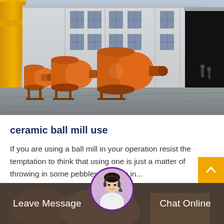[Figure (photo): Industrial ball mills (orange cylindrical grinding machines) outside a large factory/warehouse building with a yellow crane on the left. Concrete floor in foreground, workers visible near building entrance.]
ceramic ball mill use
If you are using a ball mill in your operation resist the temptation to think that using one is just a matter of throwing in some pebbles, pouring in...
Leave Message
Chat Online